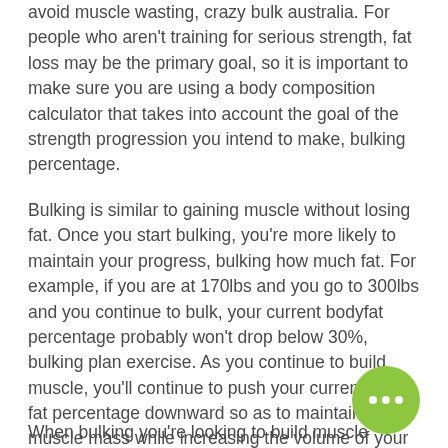avoid muscle wasting, crazy bulk australia. For people who aren't training for serious strength, fat loss may be the primary goal, so it is important to make sure you are using a body composition calculator that takes into account the goal of the strength progression you intend to make, bulking percentage.
Bulking is similar to gaining muscle without losing fat. Once you start bulking, you're more likely to maintain your progress, bulking how much fat. For example, if you are at 170lbs and you go to 300lbs and you continue to bulk, your current bodyfat percentage probably won't drop below 30%, bulking plan exercise. As you continue to build muscle, you'll continue to push your current body fat percentage downward so as to maintain that muscle mass while increasing the volume of your muscle.
When bulking you're looking to build muscle...